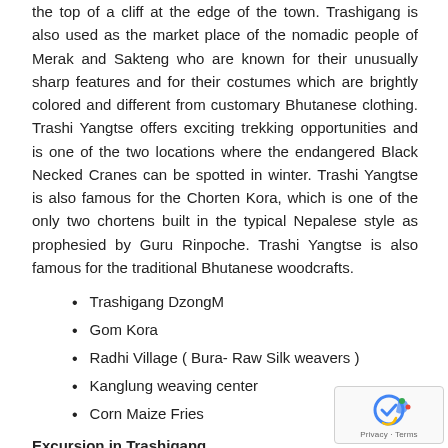the top of a cliff at the edge of the town. Trashigang is also used as the market place of the nomadic people of Merak and Sakteng who are known for their unusually sharp features and for their costumes which are brightly colored and different from customary Bhutanese clothing. Trashi Yangtse offers exciting trekking opportunities and is one of the two locations where the endangered Black Necked Cranes can be spotted in winter. Trashi Yangtse is also famous for the Chorten Kora, which is one of the only two chortens built in the typical Nepalese style as prophesied by Guru Rinpoche. Trashi Yangtse is also famous for the traditional Bhutanese woodcrafts.
TrashigangDzongM
Gom Kora
Radhi Village ( Bura- Raw Silk weavers )
Kanglung weaving center
Corn Maize Fries
Excursion in Trashigang
Merak and Sakten
Trashiyangtse
Trashiyangtse Dzong
Chorten Kora